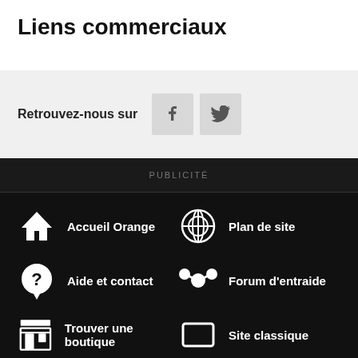Liens commerciaux
Retrouvez-nous sur [Facebook] [Twitter]
PUBLICITÉ
Accueil Orange
Plan de site
Aide et contact
Forum d'entraide
Trouver une boutique
Site classique
Informations légales   Accessibilité